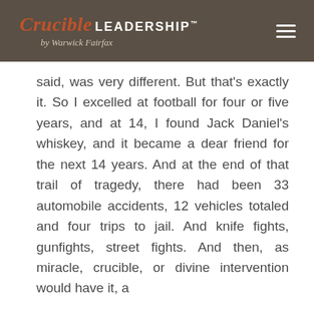Crucible LEADERSHIP™ by Warwick Fairfax
said, was very different. But that's exactly it. So I excelled at football for four or five years, and at 14, I found Jack Daniel's whiskey, and it became a dear friend for the next 14 years. And at the end of that trail of tragedy, there had been 33 automobile accidents, 12 vehicles totaled and four trips to jail. And knife fights, gunfights, street fights. And then, as miracle, crucible, or divine intervention would have it, a